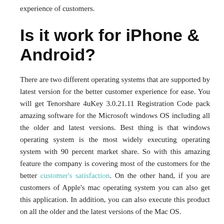experience of customers.
Is it work for iPhone & Android?
There are two different operating systems that are supported by latest version for the better customer experience for ease. You will get Tenorshare 4uKey 3.0.21.11 Registration Code pack amazing software for the Microsoft windows OS including all the older and latest versions. Best thing is that windows operating system is the most widely executing operating system with 90 percent market share. So with this amazing feature the company is covering most of the customers for the better customer's satisfaction. On the other hand, if you are customers of Apple's mac operating system you can also get this application. In addition, you can also execute this product on all the older and the latest versions of the Mac OS.